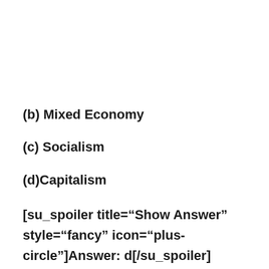(b) Mixed Economy
(c) Socialism
(d)Capitalism
[su_spoiler title="Show Answer" style="fancy" icon="plus-circle"]Answer: d[/su_spoiler]